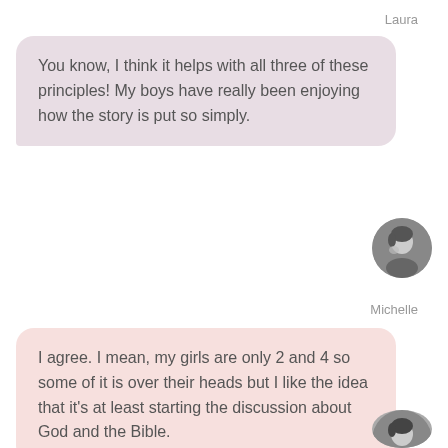Laura
You know, I think it helps with all three of these principles!  My boys have really been enjoying how the story is put so simply.
[Figure (photo): Circular black-and-white avatar photo of a woman]
Michelle
I agree. I mean, my girls are only 2 and 4 so some of it is over their heads but I like the idea that it's at least starting the discussion about God and the Bible.
[Figure (photo): Circular black-and-white avatar photo of a woman, partially visible at bottom]